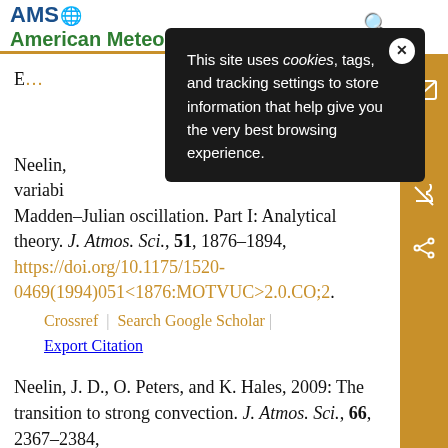AMS — American Meteorological Society
[Figure (other): Cookie consent popup overlay: 'This site uses cookies, tags, and tracking settings to store information that help give you the very best browsing experience.']
Neelin, J. D., O. Peters, and K. Hales, 2009: The transition to strong convection. J. Atmos. Sci., 66, 2367–2384, https://doi.org/10.1175/2009JAS2962.1.
Madden–Julian oscillation. Part I: Analytical theory. J. Atmos. Sci., 51, 1876–1894, https://doi.org/10.1175/1520-0469(1994)051<1876:MOTVUC>2.0.CO;2.
Crossref | Search Google Scholar
Export Citation